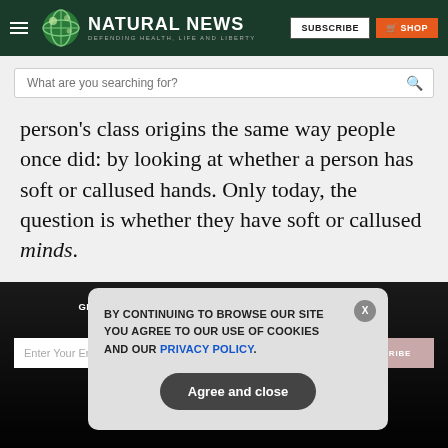[Figure (logo): Natural News logo with globe icon and tagline 'Defending Health, Life and Liberty']
[Figure (screenshot): Search bar with placeholder text 'What are you searching for?']
person's class origins the same way people once did: by looking at whether a person has soft or callused hands. Only today, the question is whether they have soft or callused minds.
GET THE WORLD'S BEST NATURAL HEALTH NEWSLETTER DELIVERED STRAIGHT TO YOUR INBOX
[Figure (screenshot): Cookie consent modal overlay: 'BY CONTINUING TO BROWSE OUR SITE YOU AGREE TO OUR USE OF COOKIES AND OUR PRIVACY POLICY.' with 'Agree and close' button and X close button]